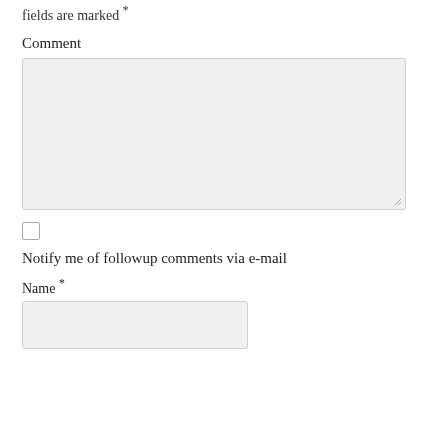fields are marked *
Comment
[Figure (screenshot): Large textarea input box for entering a comment, with a resize handle in the bottom-right corner]
[Figure (screenshot): Checkbox (unchecked) for notify me of followup comments option]
Notify me of followup comments via e-mail
Name *
[Figure (screenshot): Text input box for entering a name]